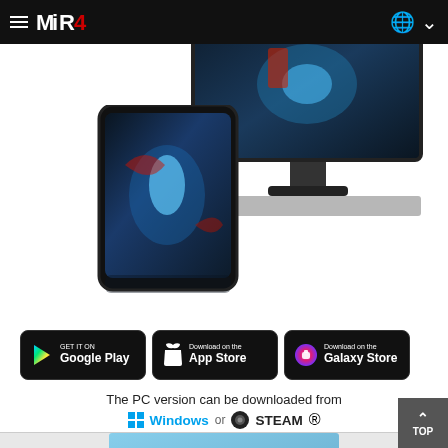MIR4 navigation bar
[Figure (screenshot): MIR4 game screenshot showing gameplay on a monitor and mobile phone device]
[Figure (screenshot): Google Play store badge - GET IT ON Google Play]
[Figure (screenshot): Apple App Store badge - Download on the App Store]
[Figure (screenshot): Samsung Galaxy Store badge - Download on the Galaxy Store]
The PC version can be downloaded from Windows or STEAM
Read more
FEATURES
[Figure (photo): Partial landscape/sky image at bottom of page]